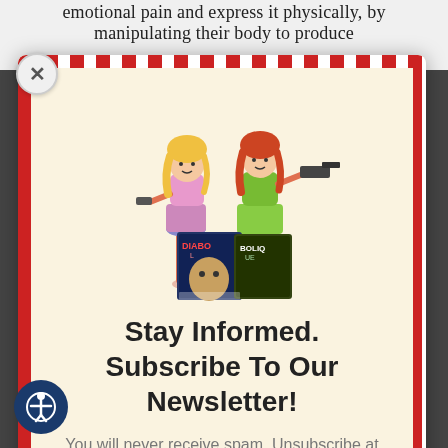emotional pain and express it physically, by manipulating their body to produce
[Figure (illustration): Two illustrated women figures holding guns, standing in front of comic book covers labeled 'Diabol' and 'Bolique']
Stay Informed. Subscribe To Our Newsletter!
You will never receive spam. Unsubscribe at any time.